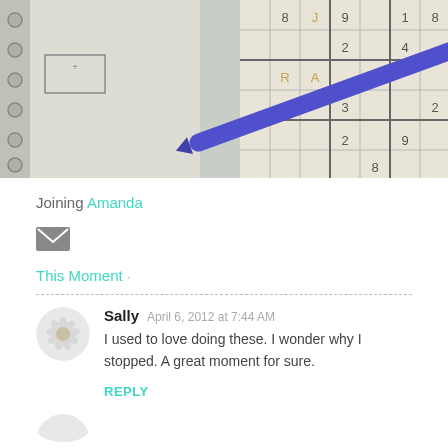[Figure (photo): A sudoku puzzle on paper with a blue/purple pen resting diagonally across the grid. Numbers visible include 8, 9, 1, 2, 4, 3 in various cells.]
Joining Amanda
[Figure (other): Small mail/envelope icon (dark grey)]
This Moment
Sally  April 6, 2012 at 7:44 AM
I used to love doing these. I wonder why I stopped. A great moment for sure.
REPLY